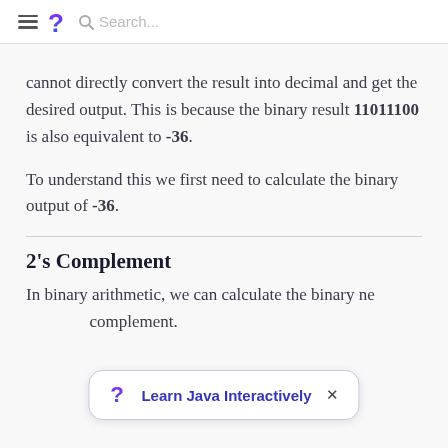Search...
cannot directly convert the result into decimal and get the desired output. This is because the binary result 11011100 is also equivalent to -36.
To understand this we first need to calculate the binary output of -36.
2's Complement
In binary arithmetic, we can calculate the binary ne... complement.